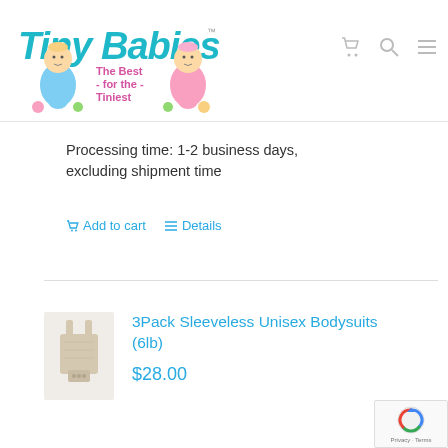[Figure (logo): Tiny Babies logo with two cartoon babies in blue and pink outfits, tagline 'The Best - for the - Tiniest' in pink text, brand name in teal/cyan lettering]
Processing time: 1-2 business days, excluding shipment time
Add to cart  Details
[Figure (photo): Small product thumbnail image of sleeveless unisex bodysuits in beige/tan color]
3Pack Sleeveless Unisex Bodysuits (6lb)
$28.00